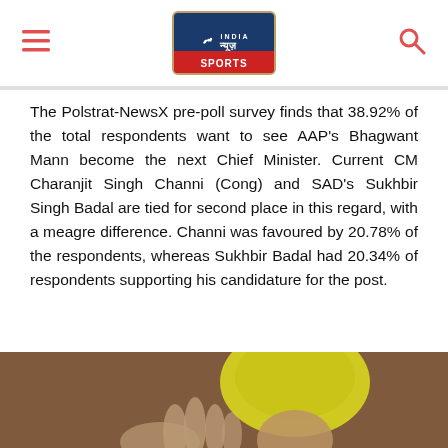India News Sports logo with hamburger menu and search icon
The Polstrat-NewsX pre-poll survey finds that 38.92% of the total respondents want to see AAP's Bhagwant Mann become the next Chief Minister. Current CM Charanjit Singh Channi (Cong) and SAD's Sukhbir Singh Badal are tied for second place in this regard, with a meagre difference. Channi was favoured by 20.78% of the respondents, whereas Sukhbir Badal had 20.34% of respondents supporting his candidature for the post.
[Figure (photo): Photograph of a man wearing a yellow turban, partially visible from neck up against an ornate wooden background]